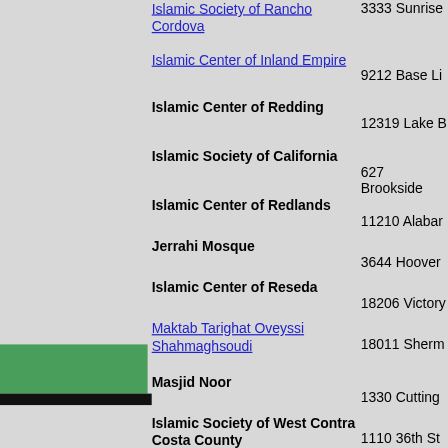Islamic Society of Rancho Cordova — 3333 Sunrise
Islamic Center of Inland Empire — 9212 Base Li
Islamic Center of Redding — 12319 Lake B
Islamic Society of California — 627 Brookside
Islamic Center of Redlands — 11210 Alabar
Jerrahi Mosque — 3644 Hoover
Islamic Center of Reseda — 18206 Victory
Maktab Tarighat Oveyssi Shahmaghsoudi — 18011 Sherm
Masjid Noor — 1330 Cutting
Islamic Society of West Contra Costa County — 1110 36th St